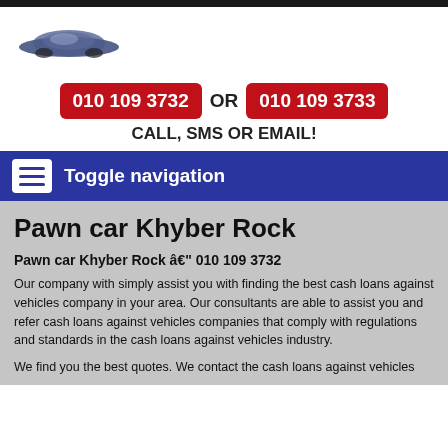[Figure (logo): Car silhouette logo in dark blue/grey color]
010 109 3732 OR 010 109 3733 CALL, SMS OR EMAIL!
Toggle navigation
Pawn car Khyber Rock
Pawn car Khyber Rock – 010 109 3732
Our company with simply assist you with finding the best cash loans against vehicles company in your area. Our consultants are able to assist you and refer cash loans against vehicles companies that comply with regulations and standards in the cash loans against vehicles industry.
We find you the best quotes. We contact the cash loans against vehicles